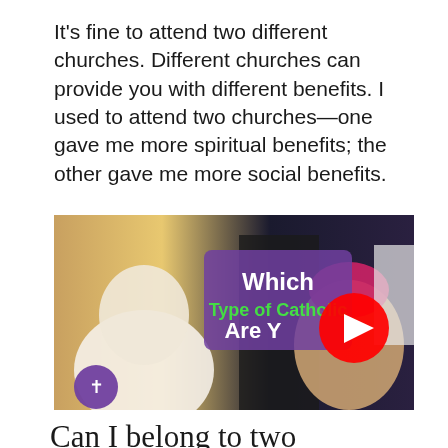It's fine to attend two different churches. Different churches can provide you with different benefits. I used to attend two churches—one gave me more spiritual benefits; the other gave me more social benefits.
[Figure (screenshot): YouTube video thumbnail with text overlay reading 'Which Type of Catholic Are Y[ou]' featuring religious figures including a pope, bishops, and a nun, with a red YouTube play button in the center and a purple logo in the lower left.]
Can I belong to two